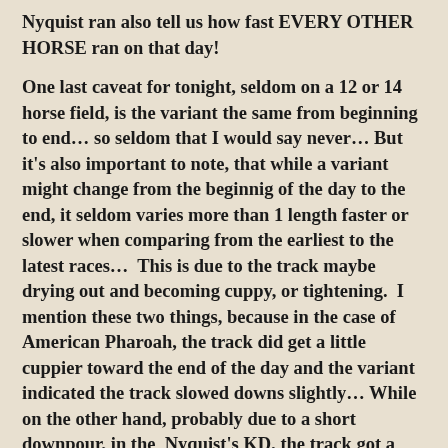Nyquist ran also tell us how fast EVERY OTHER HORSE ran on that day!
One last caveat for tonight, seldom on a 12 or 14 horse field, is the variant the same from beginning to end… so seldom that I would say never… But it's also important to note, that while a variant might change from the beginnig of the day to the end, it seldom varies more than 1 length faster or slower when comparing from the earliest to the latest races…  This is due to the track maybe drying out and becoming cuppy, or tightening.  I mention these two things, because in the case of American Pharoah, the track did get a little cuppier toward the end of the day and the variant indicated the track slowed downs slightly… While on the other hand, probably due to a short downpour, in the  Nyquist's KD, the track got a little faster…  Naturally, I would look at the race that occurred after the KD…